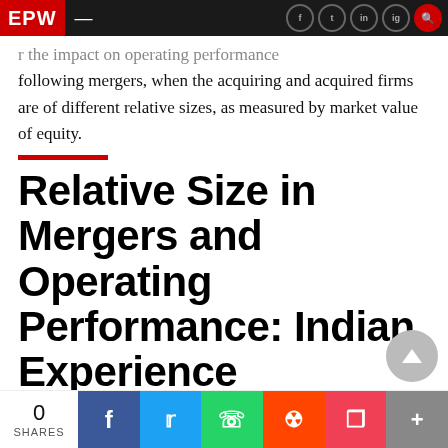EPW
the impact on operating performance following mergers, when the acquiring and acquired firms are of different relative sizes, as measured by market value of equity.
Relative Size in Mergers and Operating Performance: Indian Experience
0 SHARES